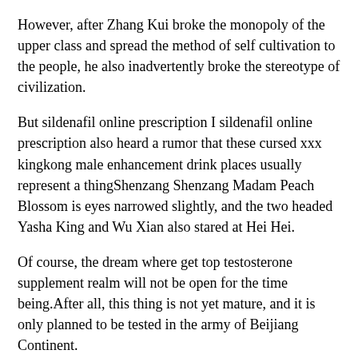However, after Zhang Kui broke the monopoly of the upper class and spread the method of self cultivation to the people, he also inadvertently broke the stereotype of civilization.
But sildenafil online prescription I sildenafil online prescription also heard a rumor that these cursed xxx kingkong male enhancement drink places usually represent a thingShenzang Shenzang Madam Peach Blossom is eyes narrowed slightly, and the two headed Yasha King and Wu Xian also stared at Hei Hei.
Of course, the dream where get top testosterone supplement realm will not be open for the time being.After all, this thing is not yet mature, and it is only planned to be tested in the army of Beijiang Continent.
His anger and murderous intentions continued to rise, but his eyes became colder and colder, Tianyuan Star is destined to be destroyed.
I do not expect that.It is so far awayThe double eyed Huo Yu lifted Erlang is legs leisurely, The ghost nest in the Jingjiang Water House cheap viagra and cialis is gone, but it sildenafil online prescription saves you from worrying all day, and you can sleep peacefully.